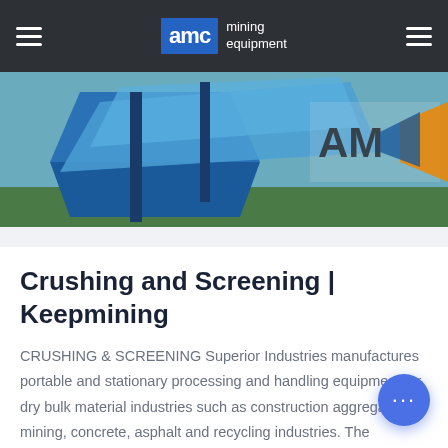AMC mining equipment
[Figure (photo): Outdoor photo showing blue industrial crushing/screening equipment with AMC logo sign visible in background]
Crushing and Screening | Keepmining
CRUSHING & SCREENING Superior Industries manufactures portable and stationary processing and handling equipment for dry bulk material industries such as construction aggregates, mining, concrete, asphalt and recycling industries. The company markets its equipment globally, both... directly and through a network of dealers. Superio